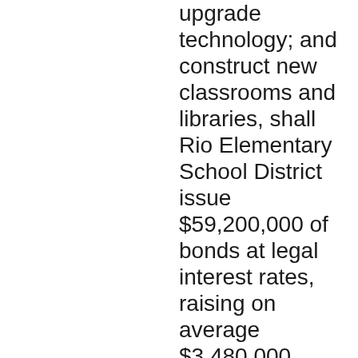upgrade technology; and construct new classrooms and libraries, shall Rio Elementary School District issue $59,200,000 of bonds at legal interest rates, raising on average $3,480,000 annually